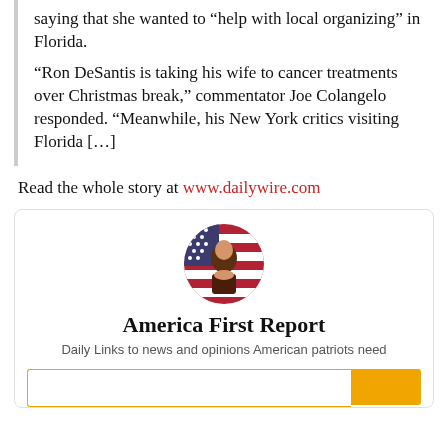saying that she wanted to “help with local organizing” in Florida.
“Ron DeSantis is taking his wife to cancer treatments over Christmas break,” commentator Joe Colangelo responded. “Meanwhile, his New York critics visiting Florida […]
Read the whole story at www.dailywire.com
[Figure (illustration): Circular avatar photo of a man in front of a US flag background]
America First Report
Daily Links to news and opinions American patriots need